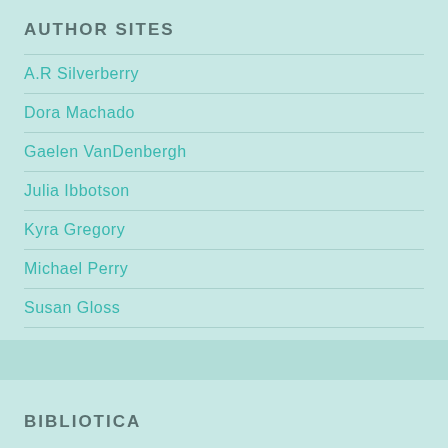AUTHOR SITES
A.R Silverberry
Dora Machado
Gaelen VanDenbergh
Julia Ibbotson
Kyra Gregory
Michael Perry
Susan Gloss
Tracy Sumner
BIBLIOTICA